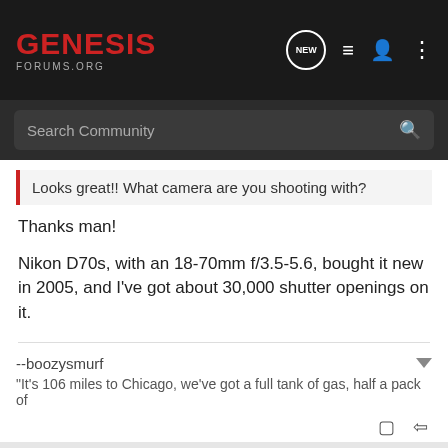GENESIS FORUMS.ORG
Search Community
Looks great!! What camera are you shooting with?
Thanks man!
Nikon D70s, with an 18-70mm f/3.5-5.6, bought it new in 2005, and I've got about 30,000 shutter openings on it.
--boozysmurf
"It's 106 miles to Chicago, we've got a full tank of gas, half a pack of
boozysmurf · Registered
Joined May 16, 2009 · 701 Posts